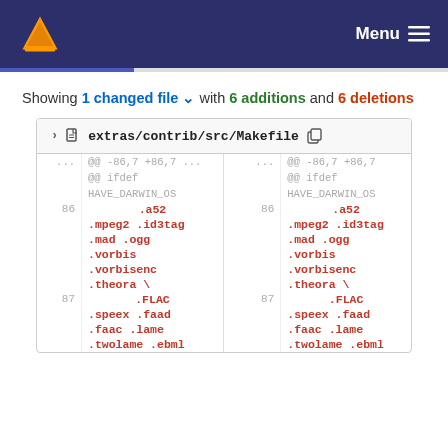VLC media player — Menu
Showing 1 changed file with 6 additions and 6 deletions
| line | left code |  | line | right code |
| --- | --- | --- | --- | --- |
| ... | @@ -86,7 +86,7 ... |  | ... | @@ -86,7 +86,7 |
|  | @@ ifdef |  |  | @@ ifdef |
|  | HAVE_DARWIN_OS |  |  | HAVE_DARWIN_OS |
| 86 | .a52 |  | 86 | .a52 |
|  | .mpeg2 .id3tag |  |  | .mpeg2 .id3tag |
|  | .mad .ogg |  |  | .mad .ogg |
|  | .vorbis |  |  | .vorbis |
|  | .vorbisenc |  |  | .vorbisenc |
|  | .theora \ |  |  | .theora \ |
| 87 | .FLAC |  | 87 | .FLAC |
|  | .speex .faad |  |  | .speex .faad |
|  | .faac .lame |  |  | .faac .lame |
|  | .twolame .ebml |  |  | .twolame .ebml |